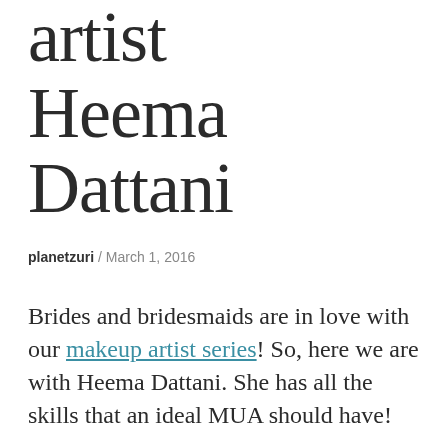artist Heema Dattani
planetzuri / March 1, 2016
Brides and bridesmaids are in love with our makeup artist series! So, here we are with Heema Dattani. She has all the skills that an ideal MUA should have!